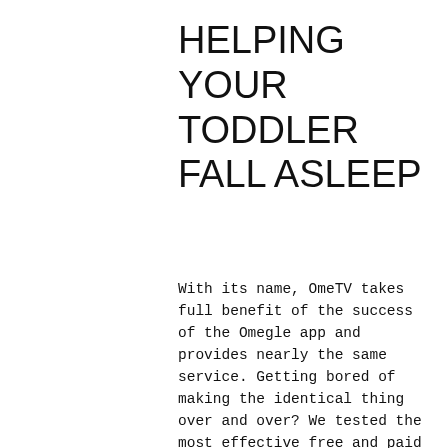HELPING YOUR TODDLER FALL ASLEEP
With its name, OmeTV takes full benefit of the success of the Omegle app and provides nearly the same service. Getting bored of making the identical thing over and over? We tested the most effective free and paid meal prep apps that will assist you convey pleasure back to